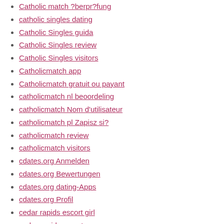Catholic match ?berpr?fung
catholic singles dating
Catholic Singles guida
Catholic Singles review
Catholic Singles visitors
Catholicmatch app
Catholicmatch gratuit ou payant
catholicmatch nl beoordeling
catholicmatch Nom d'utilisateur
catholicmatch pl Zapisz si?
catholicmatch review
catholicmatch visitors
cdates.org Anmelden
cdates.org Bewertungen
cdates.org dating-Apps
cdates.org Profil
cedar rapids escort girl
cedar-rapids escort
cerne-seznamky hodnocen?
chandler escort
Chappy App
chappy dating
Chappy review
charleston bbw escort
charleston eros escort